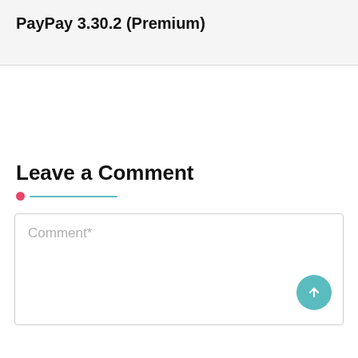PayPay 3.30.2 (Premium)
Leave a Comment
Comment*